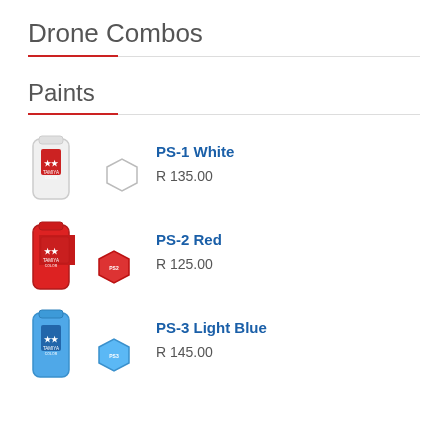Drone Combos
Paints
PS-1 White
R 135.00
PS-2 Red
R 125.00
PS-3 Light Blue
R 145.00